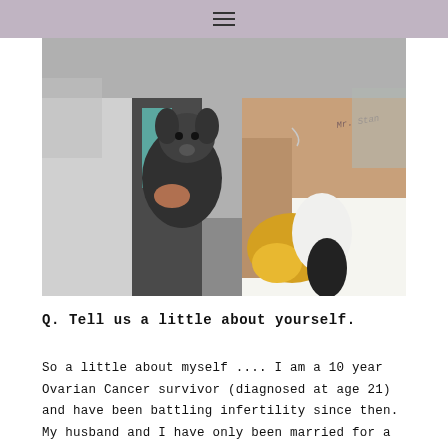≡
[Figure (photo): Wedding photo showing a bride in a white strapless dress holding a bouquet of sunflowers and feathers, and a groom in a dark vest holding a small black dog (chihuahua). The bride has tattoos and a necklace. Other guests visible in background.]
Q. Tell us a little about yourself.
So a little about myself .... I am a 10 year Ovarian Cancer survivor (diagnosed at age 21) and have been battling infertility since then. My husband and I have only been married for a year but have been friends